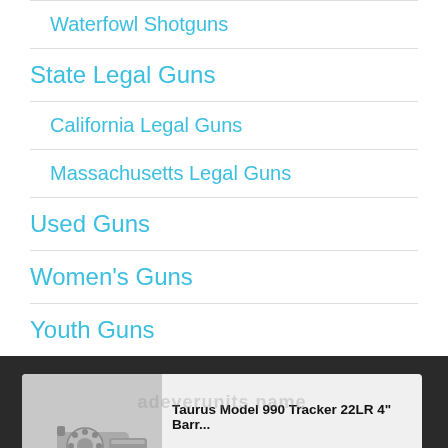Waterfowl Shotguns
State Legal Guns
California Legal Guns
Massachusetts Legal Guns
Used Guns
Women's Guns
Youth Guns
[Figure (screenshot): Product card showing a Taurus Model 990 Tracker revolver handgun image on the left, with product title 'Taurus Model 990 Tracker 22LR 4" Barr...' and text '189 people seeing this product ri...' with Contact button and chat icon button]
Taurus Model 990 Tracker 22LR 4" Barr...
189 people seeing this product ri
Contact